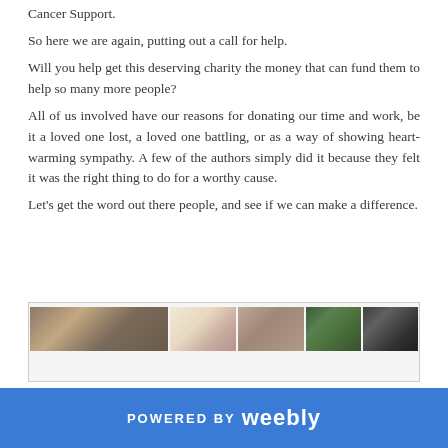Cancer Support. So here we are again, putting out a call for help. Will you help get this deserving charity the money that can fund them to help so many more people? All of us involved have our reasons for donating our time and work, be it a loved one lost, a loved one battling, or as a way of showing heart-warming sympathy. A few of the authors simply did it because they felt it was the right thing to do for a worthy cause. Let's get the word out there people, and see if we can make a difference.
[Figure (photo): A horizontal strip of multiple photos showing people and outdoor scenes]
POWERED BY weebly